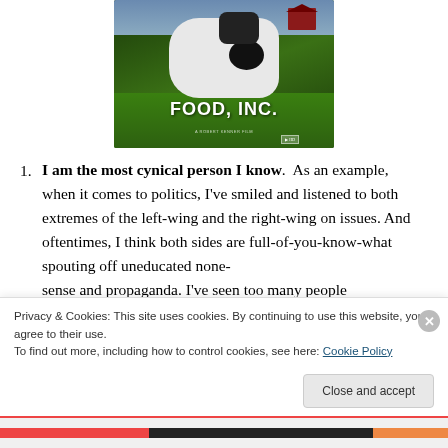[Figure (photo): Movie poster for 'Food, Inc.' documentary showing a cow in green field with red barn in the background]
I am the most cynical person I know. As an example, when it comes to politics, I've smiled and listened to both extremes of the left-wing and the right-wing on issues. And oftentimes, I think both sides are full-of-you-know-what spouting off uneducated nonsense and propaganda. I've seen too many people
Privacy & Cookies: This site uses cookies. By continuing to use this website, you agree to their use. To find out more, including how to control cookies, see here: Cookie Policy
Close and accept